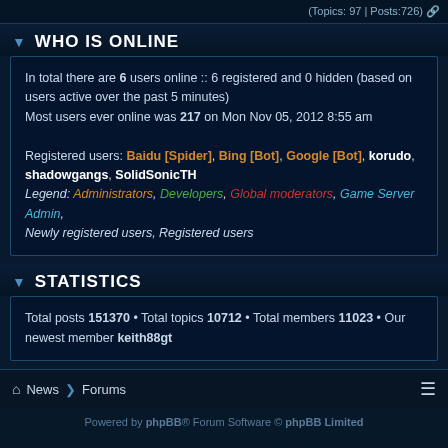(Topics: 97 | Posts:726)
WHO IS ONLINE
In total there are 6 users online :: 6 registered and 0 hidden (based on users active over the past 5 minutes)
Most users ever online was 217 on Mon Nov 05, 2012 8:55 am

Registered users: Baidu [Spider], Bing [Bot], Google [Bot], korudo, shadowgangs, SolidSonicTH
Legend: Administrators, Developers, Global moderators, Game Server Admin, Newly registered users, Registered users
STATISTICS
Total posts 151370 • Total topics 10712 • Total members 11023 • Our newest member keith88gt
News > Forums
Powered by phpBB® Forum Software © phpBB Limited